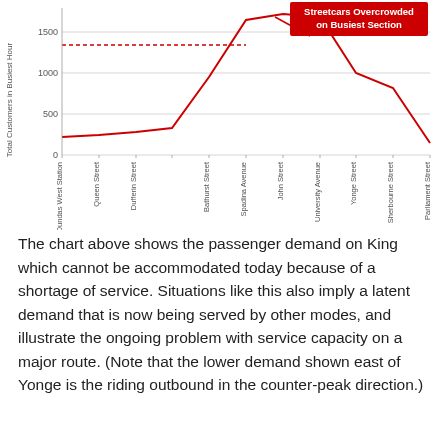[Figure (line-chart): Line chart showing passenger demand along King Street route, with a dotted red horizontal reference line around 1350, and a solid red line showing actual demand peaking between Spadina and University then dropping sharply east of Yonge.]
The chart above shows the passenger demand on King which cannot be accommodated today because of a shortage of service. Situations like this also imply a latent demand that is now being served by other modes, and illustrate the ongoing problem with service capacity on a major route. (Note that the lower demand shown east of Yonge is the riding outbound in the counter-peak direction.)